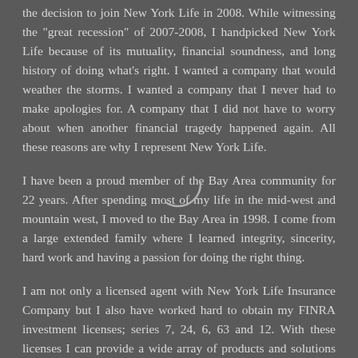the decision to join New York Life in 2008. While witnessing the "great recession" of 2007-2008, I handpicked New York Life because of its mutuality, financial soundness, and long history of doing what's right. I wanted a company that would weather the storms. I wanted a company that I never had to make apologies for. A company that I did not have to worry about when another financial tragedy happened again. All these reasons are why I represent New York Life.
I have been a proud member of the Bay Area community for 22 years. After spending most of my life in the mid-west and mountain west, I moved to the Bay Area in 1998. I come from a large extended family where I learned integrity, sincerity, hard work and having a passion for doing the right thing.
I am not only a licensed agent with New York Life Insurance Company but I also have worked hard to obtain my FINRA investment licenses; series 7, 24, 6, 63 and 12. With these licenses I can provide a wide array of products and solutions through